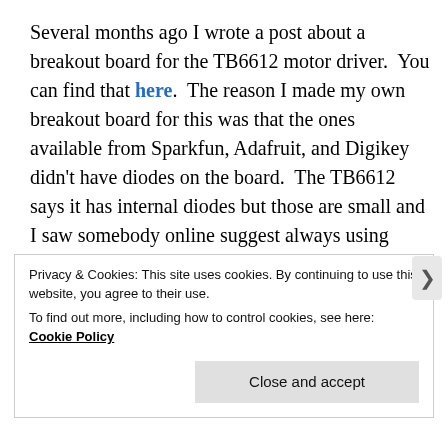Several months ago I wrote a post about a breakout board for the TB6612 motor driver.  You can find that here.  The reason I made my own breakout board for this was that the ones available from Sparkfun, Adafruit, and Digikey didn't have diodes on the board.  The TB6612 says it has internal diodes but those are small and I saw somebody online suggest always using external diodes.  Today I realized I wasn't sure if I actually needed them or not so I decided to do my own test to find out.
Continue reading
Privacy & Cookies: This site uses cookies. By continuing to use this website, you agree to their use.
To find out more, including how to control cookies, see here: Cookie Policy